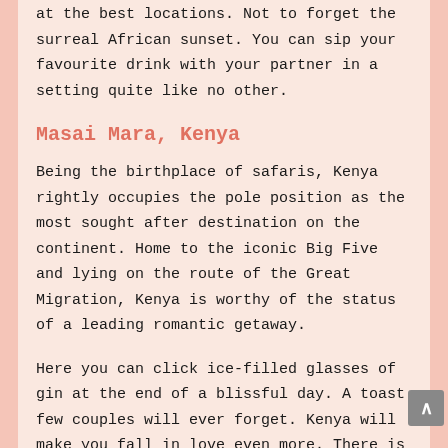at the best locations. Not to forget the surreal African sunset. You can sip your favourite drink with your partner in a setting quite like no other.
Masai Mara, Kenya
Being the birthplace of safaris, Kenya rightly occupies the pole position as the most sought after destination on the continent. Home to the iconic Big Five and lying on the route of the Great Migration, Kenya is worthy of the status of a leading romantic getaway.
Here you can click ice-filled glasses of gin at the end of a blissful day. A toast few couples will ever forget. Kenya will make you fall in love even more. There is